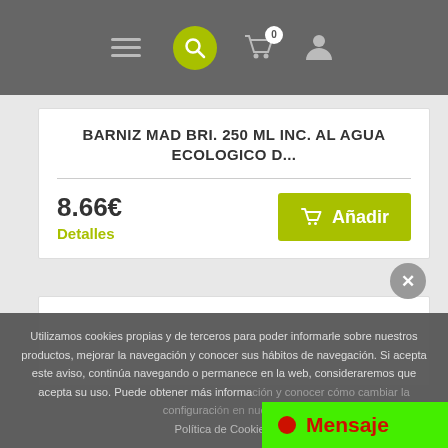Navigation bar with hamburger menu, search button, cart (0), and user icon
BARNIZ MAD BRI. 250 ML INC. AL AGUA ECOLOGICO D...
8.66€
Detalles
Añadir
Utilizamos cookies propias y de terceros para poder informarle sobre nuestros productos, mejorar la navegación y conocer sus hábitos de navegación. Si acepta este aviso, continúa navegando o permanece en la web, consideraremos que acepta su uso. Puede obtener más información y conocer cómo cambiar la configuración en nuestra Política de Cookies.
Mensaje